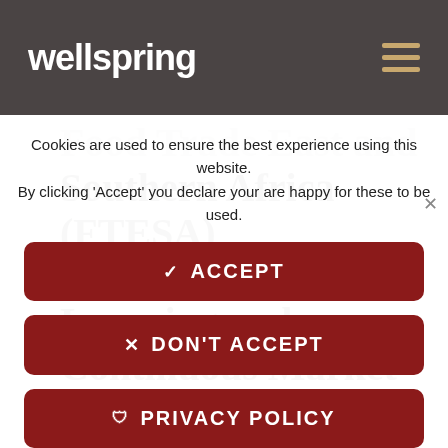wellspring
Food Trade East and Southern Africa (FTESA) Programme: Action Learning and Continuous Market Engagement Phase
Cookies are used to ensure the best experience using this website. By clicking 'Accept' you declare your are happy for these to be used.
✓ ACCEPT
✕ DON'T ACCEPT
🛡 PRIVACY POLICY